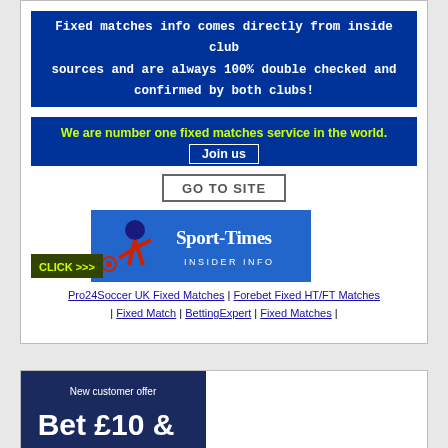Fixed matches info comes directly from inside club sources and are always 100% double checked and confirmed by both clubs!
We are number one fixed matches service in the world.
Join us
GO TO SITE
[Figure (logo): Sport-Times Insider Info banner with soccer player silhouette on blue background, CLICK >>> button]
Pro24Soccer UK Fixed Matches | Forebet Fixed HT/FT Matches | Fixed Match | BettingExpert | Fixed Matches |
[Figure (infographic): New customer offer banner with dark blue background showing 'New customer offer' and 'Bet £10 &' text]